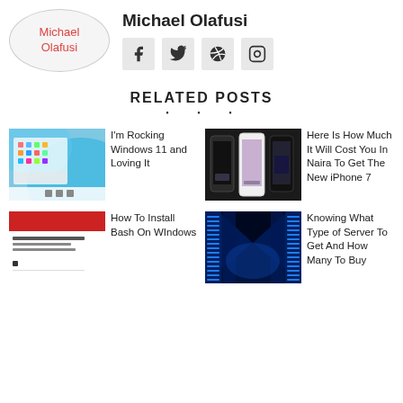[Figure (logo): Michael Olafusi blog logo - oval shape with red text]
Michael Olafusi
[Figure (infographic): Social media icons: Facebook, Twitter, Dribbble, Instagram]
RELATED POSTS
[Figure (photo): Windows 11 desktop screenshot with blue wallpaper and app icons]
I'm Rocking Windows 11 and Loving It
[Figure (photo): Three iPhones side by side showing apps]
Here Is How Much It Will Cost You In Naira To Get The New iPhone 7
[Figure (screenshot): Red and white webpage screenshot - Bash on Windows]
How To Install Bash On WIndows
[Figure (photo): Blue lit server room corridor]
Knowing What Type of Server To Get And How Many To Buy